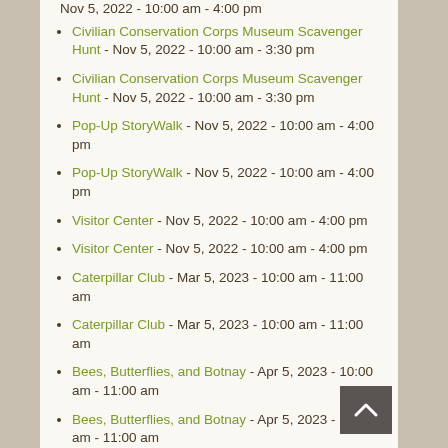Nov 5, 2022 - 10:00 am - 4:00 pm
Civilian Conservation Corps Museum Scavenger Hunt - Nov 5, 2022 - 10:00 am - 3:30 pm
Civilian Conservation Corps Museum Scavenger Hunt - Nov 5, 2022 - 10:00 am - 3:30 pm
Pop-Up StoryWalk - Nov 5, 2022 - 10:00 am - 4:00 pm
Pop-Up StoryWalk - Nov 5, 2022 - 10:00 am - 4:00 pm
Visitor Center - Nov 5, 2022 - 10:00 am - 4:00 pm
Visitor Center - Nov 5, 2022 - 10:00 am - 4:00 pm
Caterpillar Club - Mar 5, 2023 - 10:00 am - 11:00 am
Caterpillar Club - Mar 5, 2023 - 10:00 am - 11:00 am
Bees, Butterflies, and Botnay - Apr 5, 2023 - 10:00 am - 11:00 am
Bees, Butterflies, and Botnay - Apr 5, 2023 - 10:00 am - 11:00 am
Each Sunday - Apr 5, 2023 - 11:00 ...